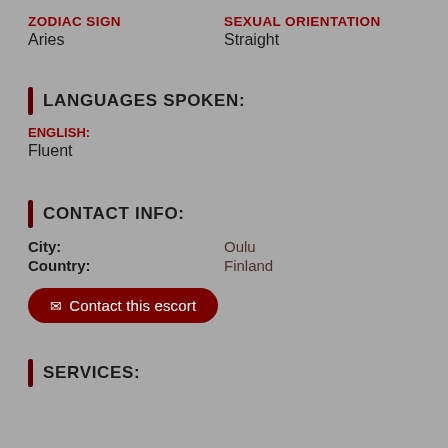ZODIAC SIGN: Aries | SEXUAL ORIENTATION: Straight
LANGUAGES SPOKEN:
ENGLISH: Fluent
CONTACT INFO:
City: Oulu | Country: Finland
Contact this escort
SERVICES: